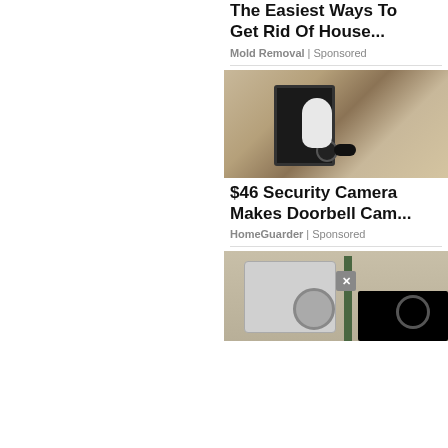The Easiest Ways To Get Rid Of House...
Mold Removal | Sponsored
[Figure (photo): Security camera mounted in an outdoor wall lamp fixture on a textured stucco wall]
$46 Security Camera Makes Doorbell Cam...
HomeGuarder | Sponsored
[Figure (photo): HVAC outdoor unit mounted on a brick wall with a black video overlay in the corner showing a circular icon]